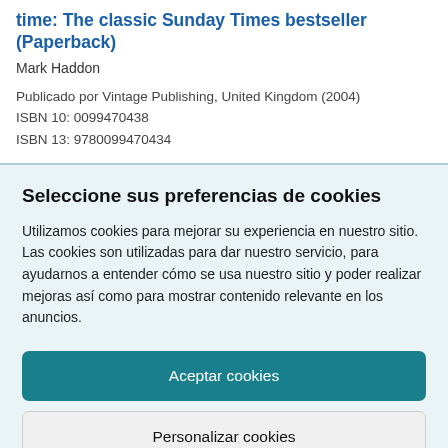time: The classic Sunday Times bestseller (Paperback)
Mark Haddon
Publicado por Vintage Publishing, United Kingdom (2004)
ISBN 10: 0099470438
ISBN 13: 9780099470434
Seleccione sus preferencias de cookies
Utilizamos cookies para mejorar su experiencia en nuestro sitio. Las cookies son utilizadas para dar nuestro servicio, para ayudarnos a entender cómo se usa nuestro sitio y poder realizar mejoras así como para mostrar contenido relevante en los anuncios.
Aceptar cookies
Personalizar cookies